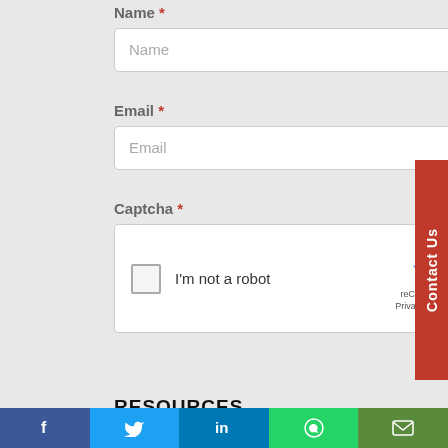Name *
[Figure (screenshot): Text input field with placeholder 'Name']
Email *
[Figure (screenshot): Text input field with placeholder 'Email']
Captcha *
[Figure (screenshot): reCAPTCHA widget with checkbox 'I'm not a robot' and reCAPTCHA logo]
[Figure (screenshot): Red Subscribe button]
RESOURCES
Blog
Case Studies
Social share bar: Facebook, Twitter, LinkedIn, WhatsApp, Email